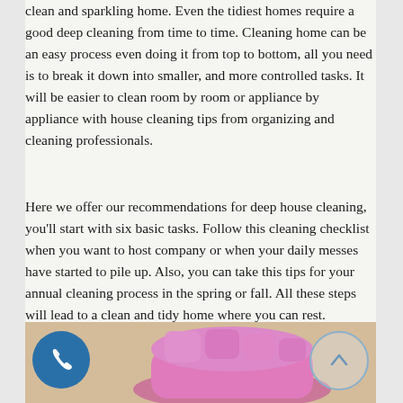clean and sparkling home. Even the tidiest homes require a good deep cleaning from time to time. Cleaning home can be an easy process even doing it from top to bottom, all you need is to break it down into smaller, and more controlled tasks. It will be easier to clean room by room or appliance by appliance with house cleaning tips from organizing and cleaning professionals.
Here we offer our recommendations for deep house cleaning, you'll start with six basic tasks. Follow this cleaning checklist when you want to host company or when your daily messes have started to pile up. Also, you can take this tips for your annual cleaning process in the spring or fall. All these steps will lead to a clean and tidy home where you can rest.
[Figure (photo): Photo of a pink rubber glove being held against a beige/tan background, with a teal phone button icon on the left and a circular up-arrow button on the right]